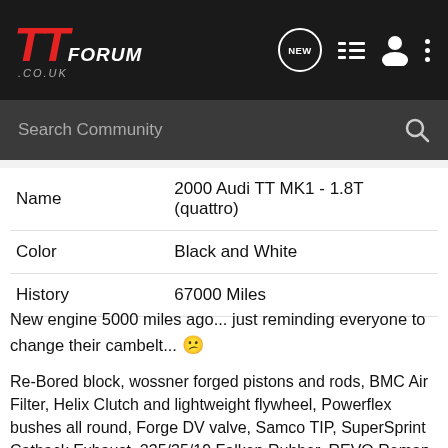TT FORUM .CO.UK
Search Community
|  |  |
| --- | --- |
| Name | 2000 Audi TT MK1 - 1.8T (quattro) |
| Color | Black and White |
| History | 67000 Miles |
New engine 5000 miles ago... just reminding everyone to change their cambelt... 😕
Re-Bored block, wossner forged pistons and rods, BMC Air Filter, Helix Clutch and lightweight flywheel, Powerflex bushes all round, Forge DV valve, Samco TIP, SuperSprint Catback Exhaust, 235/35/19 Falken Rubber, REVO Remap. SEIDL front bumper, PPI side scoops,